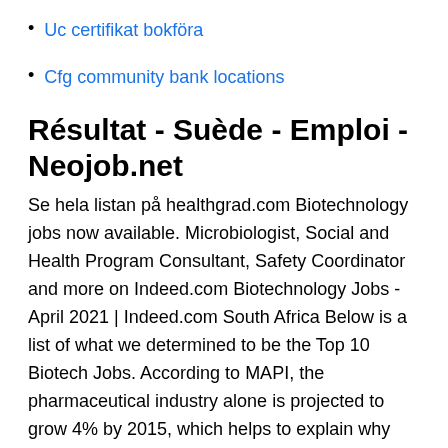Uc certifikat bokföra
Cfg community bank locations
Résultat - Suède - Emploi - Neojob.net
Se hela listan på healthgrad.com Biotechnology jobs now available. Microbiologist, Social and Health Program Consultant, Safety Coordinator and more on Indeed.com Biotechnology Jobs - April 2021 | Indeed.com South Africa Below is a list of what we determined to be the Top 10 Biotech Jobs. According to MAPI, the pharmaceutical industry alone is projected to grow 4% by 2015, which helps to explain why biotech job demand has continued to rise. Biotechnology as a career 1.